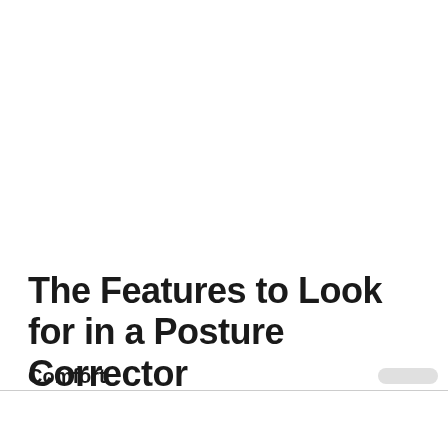The Features to Look for in a Posture Corrector
Comfort